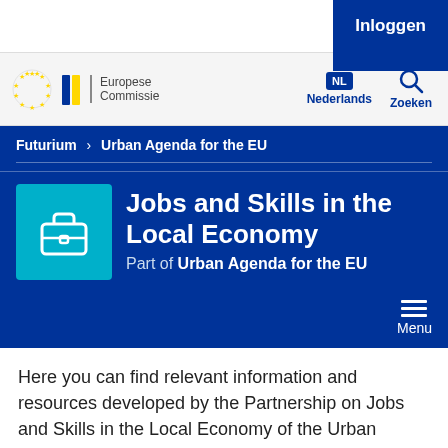Inloggen
[Figure (logo): European Commission logo with EU stars and text 'Europese Commissie']
NL Nederlands | Zoeken
Futurium > Urban Agenda for the EU
Jobs and Skills in the Local Economy
Part of Urban Agenda for the EU
Menu
Here you can find relevant information and resources developed by the Partnership on Jobs and Skills in the Local Economy of the Urban Agenda for the EU. This Partnership is currently active.